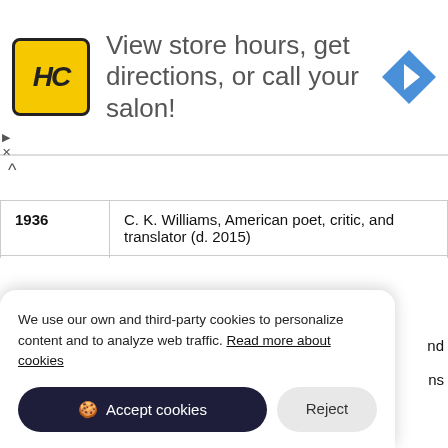[Figure (screenshot): Advertisement banner for Hair Club (HC) showing logo, text 'View store hours, get directions, or call your salon!' and a blue navigation arrow icon]
| Year | Description |
| --- | --- |
| 1936 | C. K. Williams, American poet, critic, and translator (d. 2015) |
| 1937 | Loretta Swit, American actress and singer |
| 1937 | Michael Wilson, Canadian academic and politician, 31st Canadian Minister of Finance (d. 2019) |
We use our own and third-party cookies to personalize content and to analyze web traffic. Read more about cookies
Accept cookies | Reject